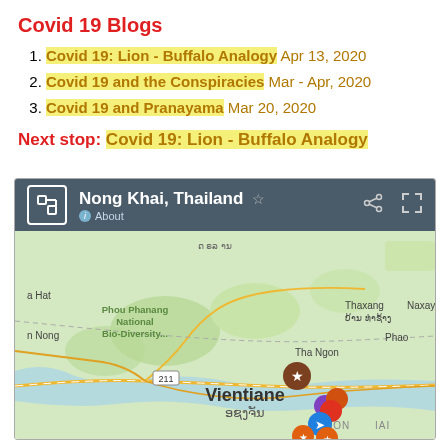Covid 19 Blogs
Covid 19: Lion - Buffalo Analogy Apr 13, 2020
Covid 19 and the Conspiracies Mar - Apr, 2020
Covid 19 and Pranayama Mar 20, 2020
Next stop: Covid 19: Lion - Buffalo Analogy
[Figure (screenshot): Google Maps screenshot showing Nong Khai, Thailand area map with Vientiane, Laos visible. Map header shows location name, star, share and expand icons. Map body shows green terrain with road networks, place names including Phou Phanang National Bio-Diversity, Tha Ngon, Thaxang, Naxay, Phao, route markers 13, 211, 212, and various map pins near Vientiane/Nong Khai area.]